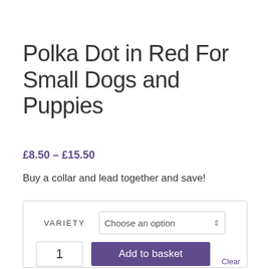Polka Dot in Red For Small Dogs and Puppies
£8.50 – £15.50
Buy a collar and lead together and save!
Variety   Choose an option   1   Add to basket   Clear